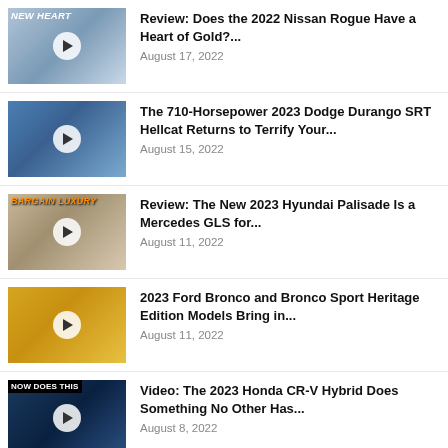Review: Does the 2022 Nissan Rogue Have a Heart of Gold?... | August 17, 2022
The 710-Horsepower 2023 Dodge Durango SRT Hellcat Returns to Terrify Your... | August 15, 2022
Review: The New 2023 Hyundai Palisade Is a Mercedes GLS for... | August 11, 2022
2023 Ford Bronco and Bronco Sport Heritage Edition Models Bring in... | August 11, 2022
Video: The 2023 Honda CR-V Hybrid Does Something No Other Has... | August 8, 2022